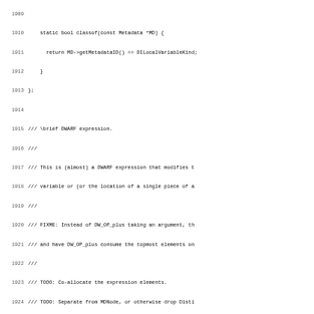Source code listing lines 1909-1941, C++ code for DILocalVariable and DIExpression classes with DWARF debug info metadata